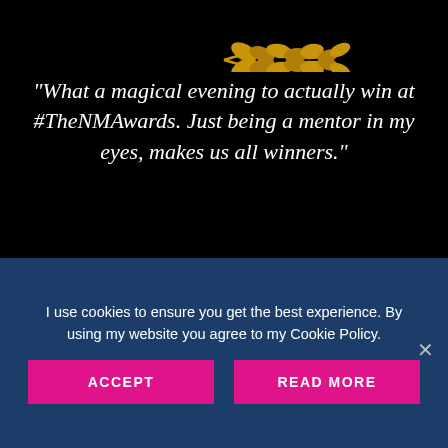[Figure (illustration): Gold laurel wreath branches on black background, partially cropped at top of image]
"What a magical evening to actually win at #TheNMAwards. Just being a mentor in my eyes, makes us all winners."
[Figure (photo): Photo of National Mentoring Awards banner/backdrop with person's head visible, text reads NATIONAL MENTORING in gold on dark background]
I use cookies to ensure you get the best experience. By using my website you agree to my Cookie Policy.
ACCEPT
READ MORE